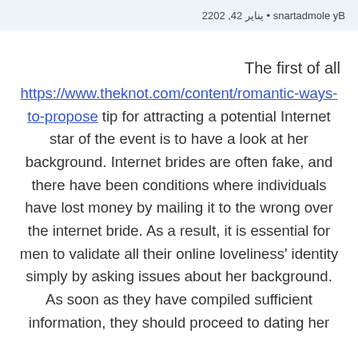By elomdatrans • يناير 24, 2022
The first of all https://www.theknot.com/content/romantic-ways-to-propose tip for attracting a potential Internet star of the event is to have a look at her background. Internet brides are often fake, and there have been conditions where individuals have lost money by mailing it to the wrong over the internet bride. As a result, it is essential for men to validate all their online loveliness' identity simply by asking issues about her background. As soon as they have compiled sufficient information, they should proceed to dating her